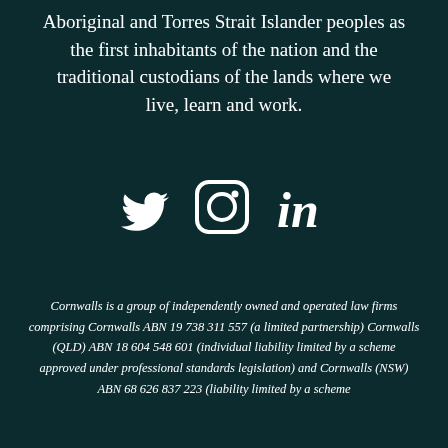Aboriginal and Torres Strait Islander peoples as the first inhabitants of the nation and the traditional custodians of the lands where we live, learn and work.
[Figure (other): Social media icons: Twitter bird, Instagram camera, LinkedIn 'in' logo, displayed in white on dark teal background]
Cornwalls is a group of independently owned and operated law firms comprising Cornwalls ABN 19 738 311 557 (a limited partnership) Cornwalls (QLD) ABN 18 604 548 601 (individual liability limited by a scheme approved under professional standards legislation) and Cornwalls (NSW) ABN 68 626 837 223 (liability limited by a scheme